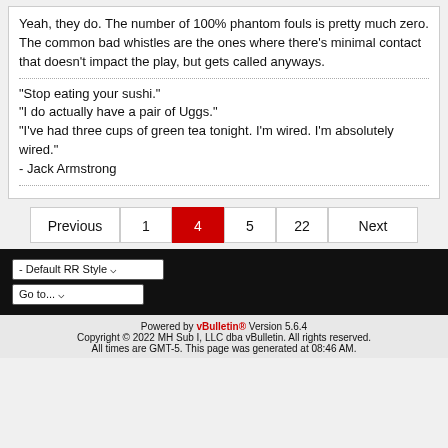Yeah, they do. The number of 100% phantom fouls is pretty much zero. The common bad whistles are the ones where there's minimal contact that doesn't impact the play, but gets called anyways.
"Stop eating your sushi."
"I do actually have a pair of Uggs."
"I've had three cups of green tea tonight. I'm wired. I'm absolutely wired."
- Jack Armstrong
Previous 1 4 5 22 Next
- Default RR Style
Go to...
Powered by vBulletin® Version 5.6.4
Copyright © 2022 MH Sub I, LLC dba vBulletin. All rights reserved.
All times are GMT-5. This page was generated at 08:46 AM.